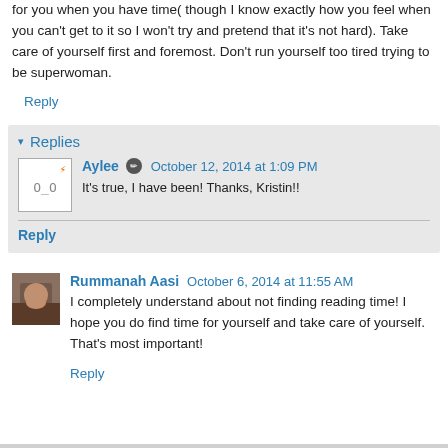for you when you have time( though I know exactly how you feel when you can't get to it so I won't try and pretend that it's not hard). Take care of yourself first and foremost. Don't run yourself too tired trying to be superwoman.
Reply
Replies
Aylee  October 12, 2014 at 1:09 PM
It's true, I have been! Thanks, Kristin!!
Reply
Rummanah Aasi  October 6, 2014 at 11:55 AM
I completely understand about not finding reading time! I hope you do find time for yourself and take care of yourself. That's most important!
Reply